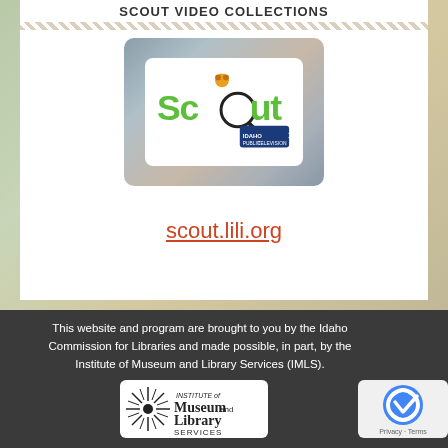SCOUT VIDEO COLLECTIONS
[Figure (logo): Scout logo from Idaho Public Television with magnifying glass graphic]
scout.lili.org
This website and program are brought to you by the Idaho Commission for Libraries and made possible, in part, by the Institute of Museum and Library Services (IMLS).
[Figure (logo): Institute of Museum and Library Services (IMLS) logo]
[Figure (logo): reCAPTCHA logo with Privacy and Terms links]